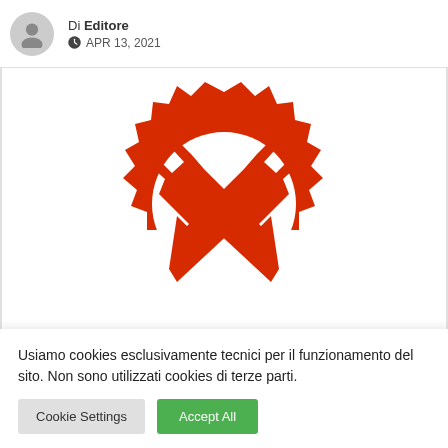Di Editore — APR 13, 2021
[Figure (illustration): Red gear/cog icon with crossed wrench and screwdriver tools inside, on white background]
Usiamo cookies esclusivamente tecnici per il funzionamento del sito. Non sono utilizzati cookies di terze parti.
Cookie Settings | Accept All